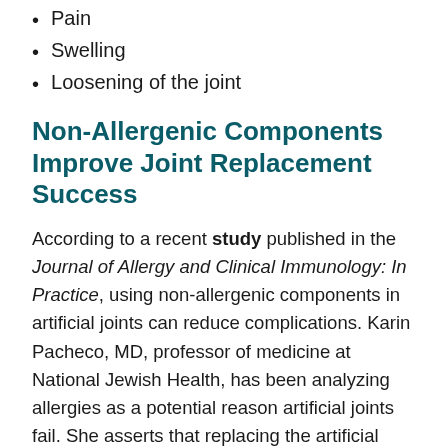Pain
Swelling
Loosening of the joint
Non-Allergenic Components Improve Joint Replacement Success
According to a recent study published in the Journal of Allergy and Clinical Immunology: In Practice, using non-allergenic components in artificial joints can reduce complications. Karin Pacheco, MD, professor of medicine at National Jewish Health, has been analyzing allergies as a potential reason artificial joints fail. She asserts that replacing the artificial joint with non-allergenic materials may bring relief to many patients.